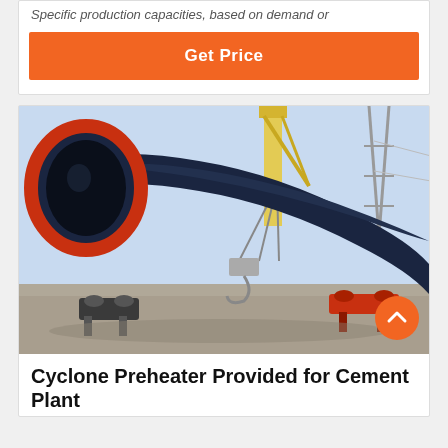Specific production capacities, based on demand or
Get Price
[Figure (photo): Large industrial rotary kiln or cylindrical drum being lifted by a crane at a construction/industrial site. The cylinder is dark navy blue with a red/orange circular rim at the front opening, resting on support rollers on a concrete ground.]
Cyclone Preheater Provided for Cement Plant